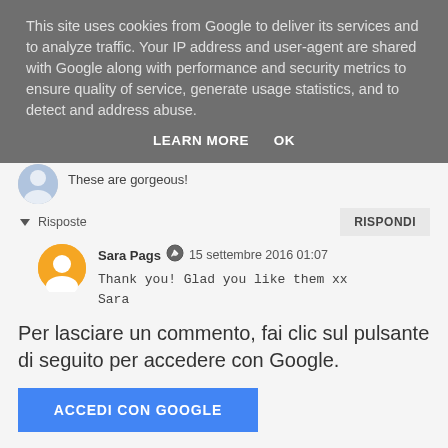This site uses cookies from Google to deliver its services and to analyze traffic. Your IP address and user-agent are shared with Google along with performance and security metrics to ensure quality of service, generate usage statistics, and to detect and address abuse.
LEARN MORE   OK
These are gorgeous!
▼ Risposte
RISPONDI
Sara Pags   15 settembre 2016 01:07
Thank you! Glad you like them xx
Sara
Rispondi
Per lasciare un commento, fai clic sul pulsante di seguito per accedere con Google.
ACCEDI CON GOOGLE